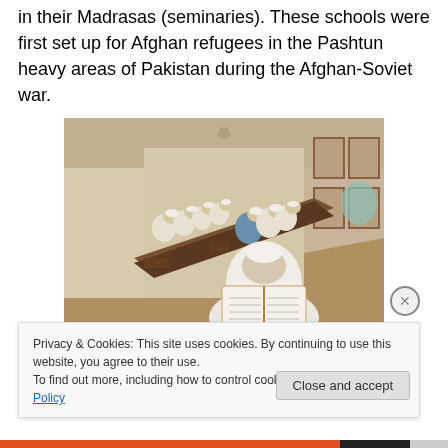in their Madrasas (seminaries). These schools were first set up for Afghan refugees in the Pashtun heavy areas of Pakistan during the Afghan-Soviet war.
[Figure (photo): Students in white skullcaps sitting along a long table in a madrasa classroom, studying books, with a teacher in the foreground reading an open book. The room is a covered outdoor corridor with windows.]
Privacy & Cookies: This site uses cookies. By continuing to use this website, you agree to their use.
To find out more, including how to control cookies, see here: Cookie Policy